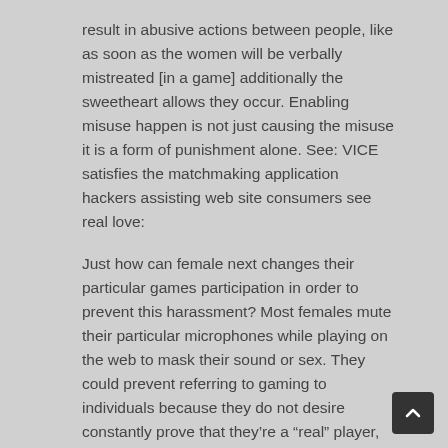result in abusive actions between people, like as soon as the women will be verbally mistreated [in a game] additionally the sweetheart allows they occur. Enabling misuse happen is not just causing the misuse it is a form of punishment alone. See: VICE satisfies the matchmaking application hackers assisting web site consumers see real love:
Just how can female next changes their particular games participation in order to prevent this harassment? Most females mute their particular microphones while playing on the web to mask their sound or sex. They could prevent referring to gaming to individuals because they do not desire constantly prove that they're a “real” player, or downplay their femininity in male-dominated video gaming places. Women are always discussing her sex and fascination with games,